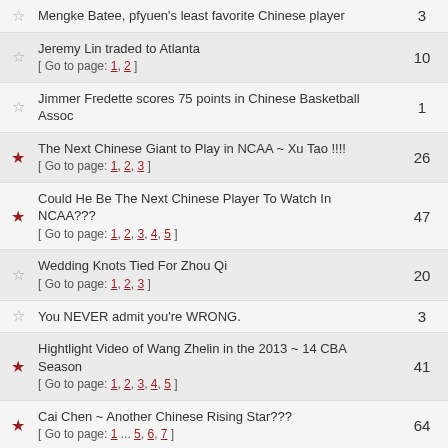Mengke Batee, pfyuen's least favorite Chinese player | 3
Jeremy Lin traded to Atlanta [ Go to page: 1, 2 ] | 10
Jimmer Fredette scores 75 points in Chinese Basketball Assoc | 1
The Next Chinese Giant to Play in NCAA ~ Xu Tao !!!! [ Go to page: 1, 2, 3 ] | 26
Could He Be The Next Chinese Player To Watch In NCAA??? [ Go to page: 1, 2, 3, 4, 5 ] | 47
Wedding Knots Tied For Zhou Qi [ Go to page: 1, 2, 3 ] | 20
You NEVER admit you're WRONG. | 3
Hightlight Video of Wang Zhelin in the 2013 ~ 14 CBA Season [ Go to page: 1, 2, 3, 4, 5 ] | 41
Cai Chen ~ Another Chinese Rising Star??? [ Go to page: 1 ... 5, 6, 7 ] | 64
Dallas Mavericks To Sign Ding Yanyuhang for G-League [ Go to page: 1, 2, 3, 4 ] | 36
Display topics from previous
Mark topics read
Moderator: Yaorule